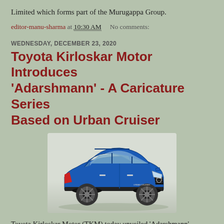Limited which forms part of the Murugappa Group.
editor-manu-sharma at 10:30 AM    No comments:
WEDNESDAY, DECEMBER 23, 2020
Toyota Kirloskar Motor Introduces 'Adarshmann' - A Caricature Series Based on Urban Cruiser
[Figure (photo): Blue Toyota Urban Cruiser SUV shown in a 3/4 front view against a light grey background]
Toyota Kirloskar Motor (TKM) today unveiled 'Adarshmann'.